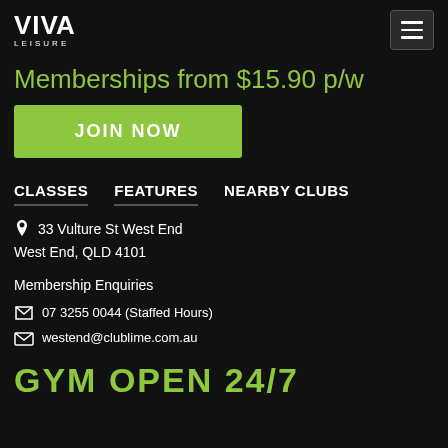VIVA LEISURE
Memberships from $15.90 p/w
JOIN NOW
CLASSES   FEATURES   NEARBY CLUBS
33 Vulture St West End
West End, QLD 4101
Membership Enquiries
07 3255 0044 (Staffed Hours)
westend@clublime.com.au
GYM OPEN 24/7